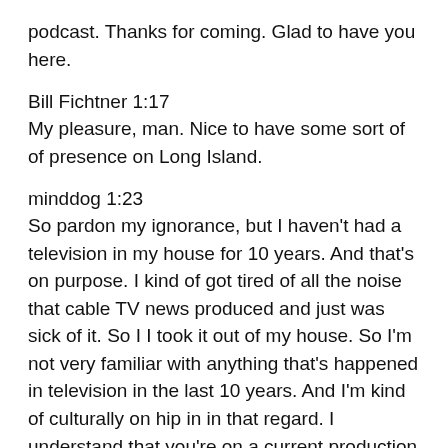podcast. Thanks for coming. Glad to have you here.
Bill Fichtner 1:17
My pleasure, man. Nice to have some sort of presence on Long Island.
minddog 1:23
So pardon my ignorance, but I haven't had a television in my house for 10 years. And that's on purpose. I kind of got tired of all the noise that cable TV news produced and just was sick of it. So I I took it out of my house. So I'm not very familiar with anything that's happened in television in the last 10 years. And I'm kind of culturally on hip in in that regard. I understand that you're on a current production on television that is